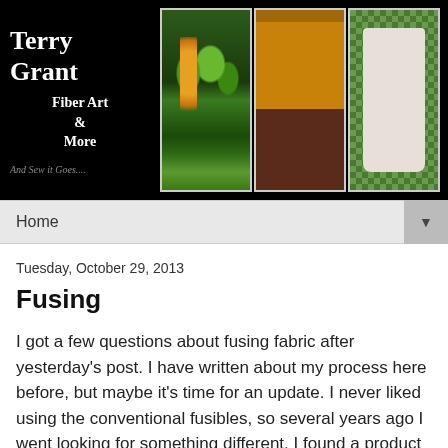[Figure (illustration): Blog header banner with black background showing the blog name 'Terry Grant Fiber Art & More' and tagline 'And Sew it Goes...' on the left, and three artwork images on the right: a painting of colorful trees, a painting of a yellow cafe building with red umbrellas, and a shirt on a geometric quilt background.]
Home ▼
Tuesday, October 29, 2013
Fusing
I got a few questions about fusing fabric after yesterday's post. I have written about my process here before, but maybe it's time for an update. I never liked using the conventional fusibles, so several years ago I went looking for something different. I found a product called Liquifuse and